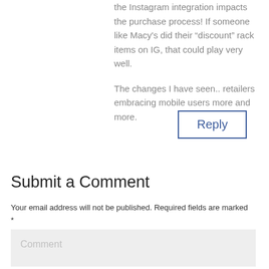the Instagram integration impacts the purchase process! If someone like Macy's did their “discount” rack items on IG, that could play very well.

The changes I have seen.. retailers embracing mobile users more and more.
Reply
Submit a Comment
Your email address will not be published. Required fields are marked *
Comment